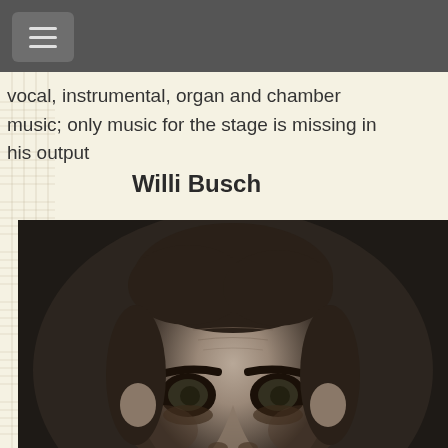vocal, instrumental, organ and chamber music; only music for the stage is missing in his output
Willi Busch
[Figure (photo): Black and white close-up portrait photograph of Willi Busch, showing his face with heavy-set features, dark eyes, and disheveled hair.]